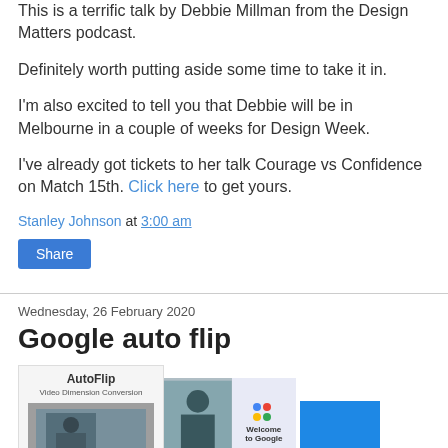This is a terrific talk by Debbie Millman from the Design Matters podcast.
Definitely worth putting aside some time to take it in.
I'm also excited to tell you that Debbie will be in Melbourne in a couple of weeks for Design Week.
I've already got tickets to her talk Courage vs Confidence on Match 15th. Click here to get yours.
Stanley Johnson at 3:00 am
Share
Wednesday, 26 February 2020
Google auto flip
[Figure (screenshot): AutoFlip video dimension converter screenshot showing original video with a person at a Google Welcome event, alongside cropped/resized versions, and a blue panel on the right.]